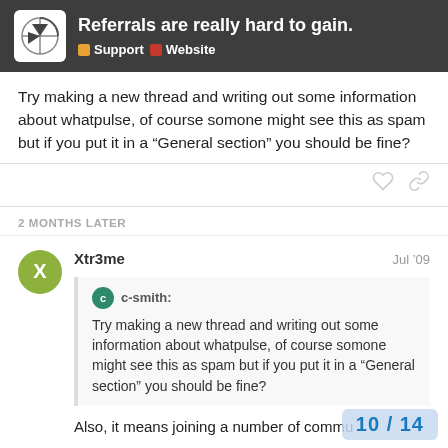Referrals are really hard to gain. | Support | Website
Try making a new thread and writing out some information about whatpulse, of course somone might see this as spam but if you put it in a “General section” you should be fine?
2 MONTHS LATER
Xtr3me  Jul ’09
c-smith: Try making a new thread and writing out some information about whatpulse, of course somone might see this as spam but if you put it in a “General section” you should be fine?
Also, it means joining a number of commu
10 / 14